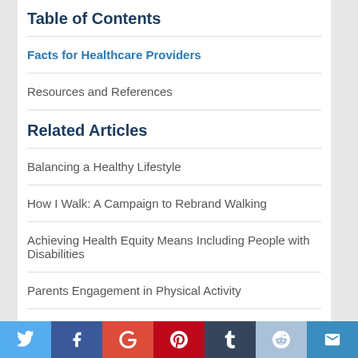Table of Contents
Facts for Healthcare Providers
Resources and References
Related Articles
Balancing a Healthy Lifestyle
How I Walk: A Campaign to Rebrand Walking
Achieving Health Equity Means Including People with Disabilities
Parents Engagement in Physical Activity
President's Proposed Drug Relief Plan Must Include Relief from America's Worst Ailment: